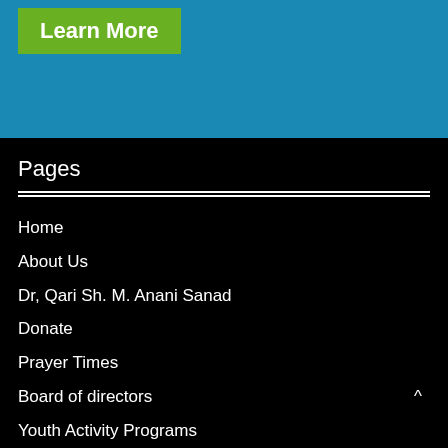[Figure (screenshot): Blue background section with a green 'Learn More' button in the top left]
Pages
Home
About Us
Dr, Qari Sh. M. Anani Sanad
Donate
Prayer Times
Board of directors
Youth Activity Programs